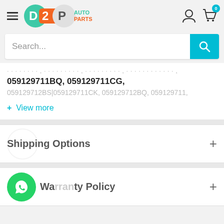D2P Auto Parts - header with logo, hamburger menu, user icon, and cart (0)
Search...
059129711BQ, 059129711CG,
059129712BS|059129711CK, 059129712BQ, 059129711,
+ View more
Shipping Options
Warranty Policy